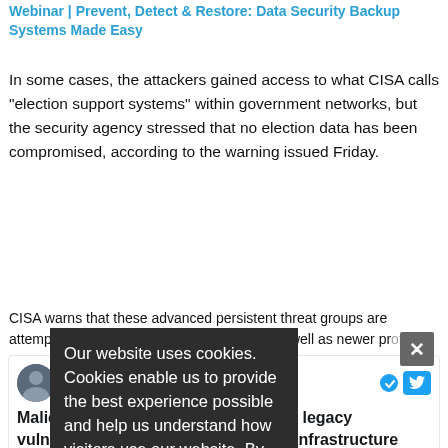Webinar | Prevent, Detect & Restore: Data Security Backup Systems Made Easy
In some cases, the attackers gained access to what CISA calls "election support systems" within government networks, but the security agency stressed that no election data has been compromised, according to the warning issued Friday.
CISA warns that these advanced persistent threat groups are attempting to exploit legacy vulnerabilities as well as newer protocol flaws, such as the Zerologon bug recently patched for Windows Server
Our website uses cookies. Cookies enable us to provide the best experience possible and help us understand how visitors use our website. By browsing databreachtoday.com, you agree to our use of cookies.
[Figure (screenshot): Tweet embed from Cybersecurity and Infrastructure Security (@CISAgov) with text: Malicious cyber actors are exploiting legacy vulnerabilities against SLTT, Critical Infrastructure and Election Systems...]